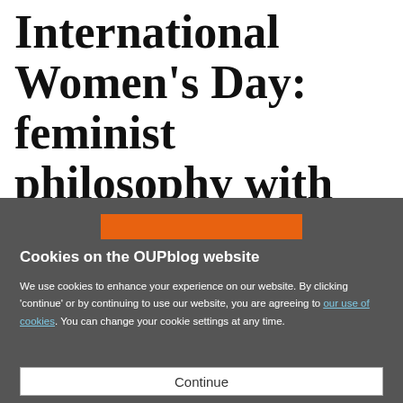International Women's Day: feminist philosophy with Clara Zetkin
[Figure (other): Orange horizontal bar graphic element inside dark grey cookie consent overlay]
Cookies on the OUPblog website
We use cookies to enhance your experience on our website. By clicking 'continue' or by continuing to use our website, you are agreeing to our use of cookies. You can change your cookie settings at any time.
Continue